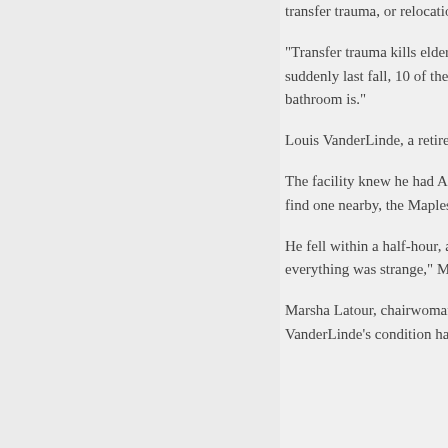transfer trauma, or relocation stress, and increase the risk of falls.
"Transfer trauma kills elderly, frail pe... care ombudsman for more than 25 y... closed suddenly last fall, 10 of the 1... she says. "People get lost, people d... where the bathroom is."
Louis VanderLinde, a retired college... after the Maples, a county-owned nu...
The facility knew he had Alzheimer's... but last summer gave his wife, Nano... couldn't find one nearby, the Maples... Mich.
He fell within a half-hour, and soon s... food at meals; he died Oct. 12. "You... everything was strange," Mrs. Vande...
Marsha Latour, chairwoman of the b... specifics of the VanderLindes' exper... VanderLinde's condition had reache...